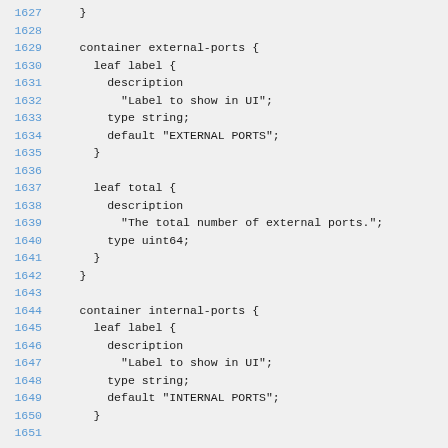Code listing lines 1627-1651 showing YANG data model definitions for container external-ports and container internal-ports with leaf label and leaf total nodes.